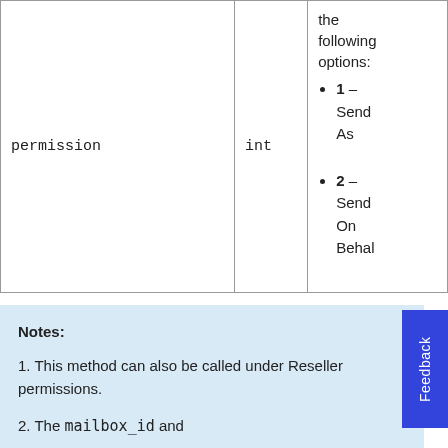| Parameter | Type | Description |
| --- | --- | --- |
| permission | int | the following options:
• 1 – Send As
• 2 – Send On Behalf |
Notes:
1. This method can also be called under Reseller permissions.
2. The mailbox_id and